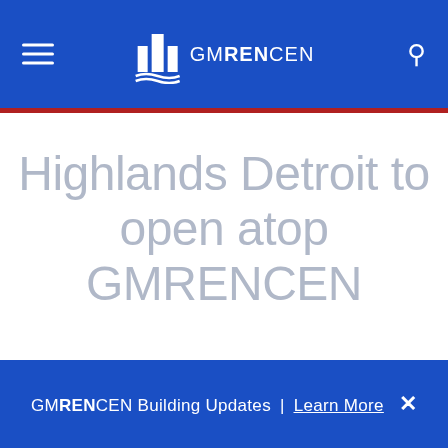GMRENCEN
Highlands Detroit to open atop GMRENCEN
GMRENCEN Building Updates | Learn More ×